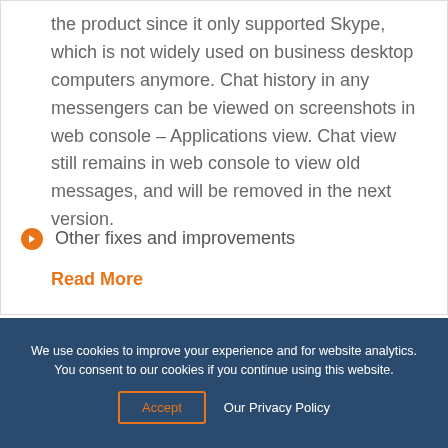the product since it only supported Skype, which is not widely used on business desktop computers anymore. Chat history in any messengers can be viewed on screenshots in web console – Applications view. Chat view still remains in web console to view old messages, and will be removed in the next version.
Other fixes and improvements
Read More
We use cookies to improve your experience and for website analytics. You consent to our cookies if you continue using this website.
Accept   Our Privacy Policy